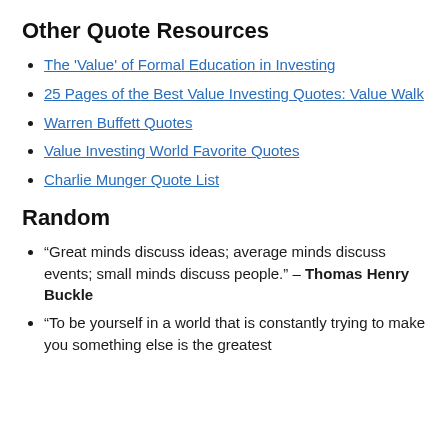Other Quote Resources
The 'Value' of Formal Education in Investing
25 Pages of the Best Value Investing Quotes: Value Walk
Warren Buffett Quotes
Value Investing World Favorite Quotes
Charlie Munger Quote List
Random
“Great minds discuss ideas; average minds discuss events; small minds discuss people.” – Thomas Henry Buckle
“To be yourself in a world that is constantly trying to make you something else is the greatest